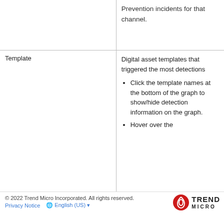|  | Prevention incidents for that channel. |
| Template | Digital asset templates that triggered the most detections
• Click the template names at the bottom of the graph to show/hide detection information on the graph.
• Hover over the detection... to view the template name |
© 2022 Trend Micro Incorporated. All rights reserved.
Privacy Notice   🌐 English (US)